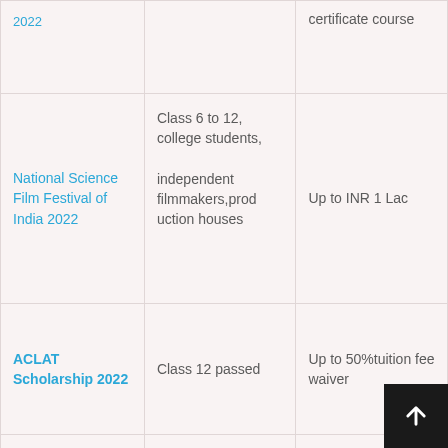| Scholarship/Program | Eligibility | Benefit |
| --- | --- | --- |
| [continued] |  | certificate course |
| National Science Film Festival of India 2022 | Class 6 to 12, college students, independent filmmakers,production houses | Up to INR 1 Lac |
| ACLAT Scholarship 2022 | Class 12 passed | Up to 50%tuition fee waiver |
| Dr APJ Abdul Kalam Summer Training | BE/B.Tech, M.Sc., M.Tech | Fellowship INR 25000 and Travel Allowance |